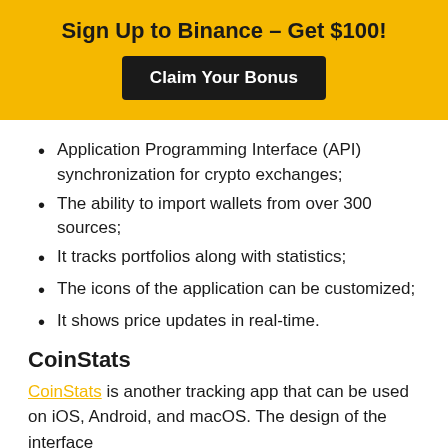[Figure (infographic): Yellow banner with text 'Sign Up to Binance – Get $100!' and a black button labeled 'Claim Your Bonus']
Application Programming Interface (API) synchronization for crypto exchanges;
The ability to import wallets from over 300 sources;
It tracks portfolios along with statistics;
The icons of the application can be customized;
It shows price updates in real-time.
CoinStats
CoinStats is another tracking app that can be used on iOS, Android, and macOS. The design of the interface